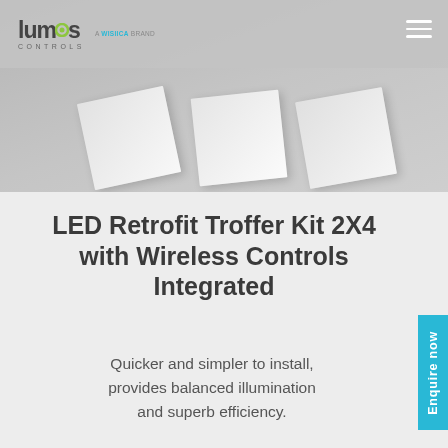Lumos Controls — A WISIICA Brand
[Figure (photo): Hero image showing LED retrofit troffer kit products arranged as angled panels/cards on a grey background]
LED Retrofit Troffer Kit 2X4 with Wireless Controls Integrated
Quicker and simpler to install, provides balanced illumination and superb efficiency.